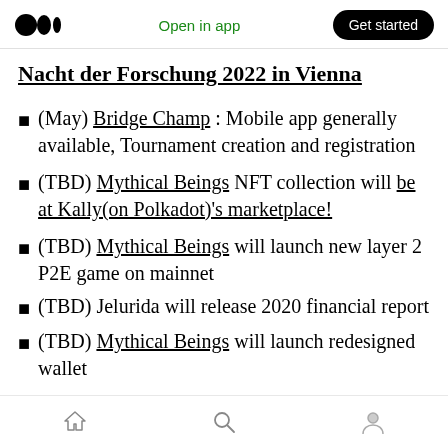Medium logo | Open in app | Get started
Nacht der Forschung 2022 in Vienna
(May) Bridge Champ : Mobile app generally available, Tournament creation and registration
(TBD) Mythical Beings NFT collection will be at Kally(on Polkadot)'s marketplace!
(TBD) Mythical Beings will launch new layer 2 P2E game on mainnet
(TBD) Jelurida will release 2020 financial report
(TBD) Mythical Beings will launch redesigned wallet
Home | Search | Profile